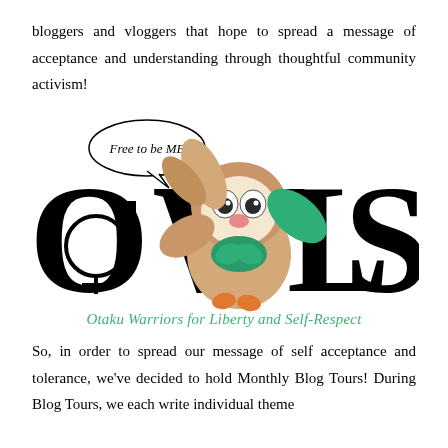bloggers and vloggers that hope to spread a message of acceptance and understanding through thoughtful community activism!
[Figure (logo): OWLS logo featuring a cartoon owl (Rowlet from Pokemon) overlaid on large black letters 'OWLS', with a speech bubble saying 'Free to be ME' and a gender/Venus symbol on the O. Below reads 'Otaku Warriors for Liberty and Self-Respect' in green italic text.]
So, in order to spread our message of self acceptance and tolerance, we've decided to hold Monthly Blog Tours! During Blog Tours, we each write individual theme